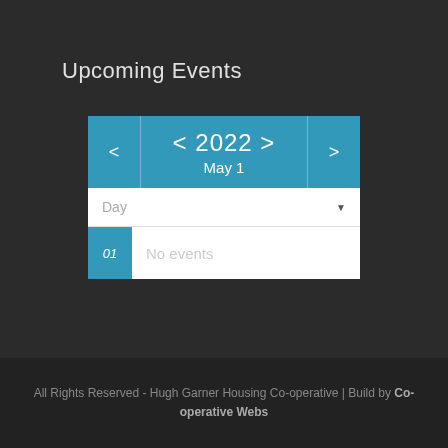Upcoming Events
[Figure (screenshot): Calendar widget showing year 2022, May 1, with Day view dropdown and a date row showing '01' with 'No events' text]
All Rights Reserved - Hugh Garner Housing Co-operative | Build by Co-operative Webs